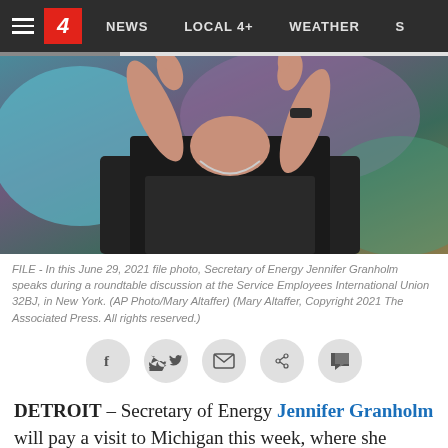4  NEWS  LOCAL 4+  WEATHER  S
[Figure (photo): Secretary of Energy Jennifer Granholm pointing with both index fingers, wearing dark clothing and a watch, with colorful background]
FILE - In this June 29, 2021 file photo, Secretary of Energy Jennifer Granholm speaks during a roundtable discussion at the Service Employees International Union 32BJ, in New York. (AP Photo/Mary Altaffer) (Mary Altaffer, Copyright 2021 The Associated Press. All rights reserved.)
DETROIT – Secretary of Energy Jennifer Granholm will pay a visit to Michigan this week, where she served as governor
[Figure (screenshot): Farm Bureau Insurance advertisement: 'When it comes to Life, the EXPERIENCE MATTERS. FIND AN AGENT']
The former Michigan governor...